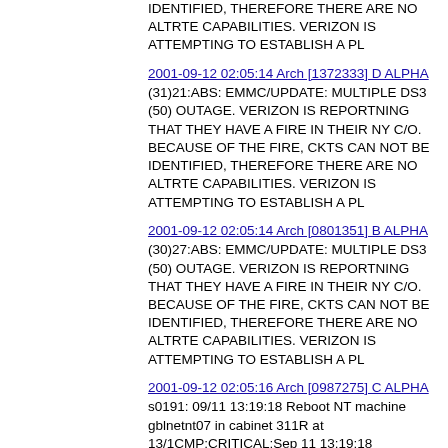IDENTIFIED, THEREFORE THERE ARE NO ALTRTE CAPABILITIES. VERIZON IS ATTEMPTING TO ESTABLISH A PL
2001-09-12 02:05:14 Arch [1372333] D ALPHA
(31)21:ABS: EMMC/UPDATE: MULTIPLE DS3 (50) OUTAGE. VERIZON IS REPORTNING THAT THEY HAVE A FIRE IN THEIR NY C/O. BECAUSE OF THE FIRE, CKTS CAN NOT BE IDENTIFIED, THEREFORE THERE ARE NO ALTRTE CAPABILITIES. VERIZON IS ATTEMPTING TO ESTABLISH A PL
2001-09-12 02:05:14 Arch [0801351] B ALPHA
(30)27:ABS: EMMC/UPDATE: MULTIPLE DS3 (50) OUTAGE. VERIZON IS REPORTNING THAT THEY HAVE A FIRE IN THEIR NY C/O. BECAUSE OF THE FIRE, CKTS CAN NOT BE IDENTIFIED, THEREFORE THERE ARE NO ALTRTE CAPABILITIES. VERIZON IS ATTEMPTING TO ESTABLISH A PL
2001-09-12 02:05:16 Arch [0987275] C ALPHA
s0191: 09/11 13:19:18 Reboot NT machine gblnetnt07 in cabinet 311R at 13/1CMP:CRITICAL:Sep 11 13:19:18
2001-09-12 02:05:16 Arch [0480302] D ALPHA